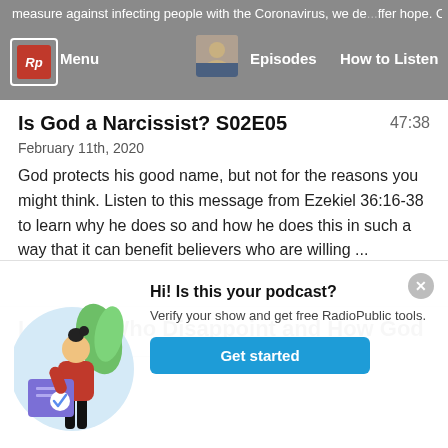measure against infecting people with the Coronavirus, we de... ffer hope. Our ...ice ... d | Menu | Episodes | How to Listen
Is God a Narcissist? S02E05
February 11th, 2020
God protects his good name, but not for the reasons you might think. Listen to this message from Ezekiel 36:16-38 to learn why he does so and how he does this in such a way that it can benefit believers who are willing ...
Leaders Who Disappoint and How God
[Figure (illustration): Popup dialog with an illustration of a woman holding a document with a checkmark, green leaves and a light blue circle background. Contains title 'Hi! Is this your podcast?', text 'Verify your show and get free RadioPublic tools.', and a blue 'Get started' button. A close (X) button is in the top right corner.]